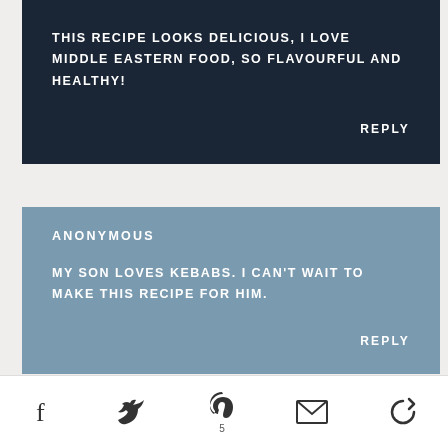THIS RECIPE LOOKS DELICIOUS, I LOVE MIDDLE EASTERN FOOD, SO FLAVOURFUL AND HEALTHY!
REPLY
ANONYMOUS
MY SON LOVES KEBABS. I CAN'T WAIT TO MAKE THIS RECIPE FOR HIM.
REPLY
[Figure (infographic): Social share bar with Facebook, Twitter, Pinterest (count: 5), Email, and a circular arrow/share icon]